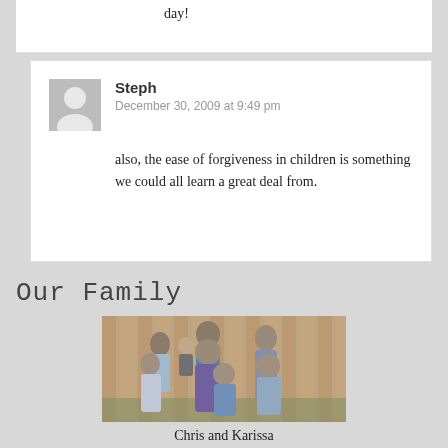day!
Steph
December 30, 2009 at 9:49 pm
also, the ease of forgiveness in children is something we could all learn a great deal from.
Our Family
[Figure (photo): Family photo of Chris and Karissa with several children, posed outdoors in front of a wooden fence]
Chris and Karissa